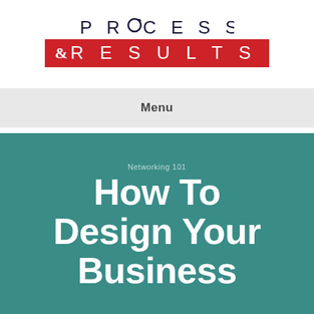[Figure (logo): Process & Results logo with PROCESS in navy spaced letters above a red bar containing '&RESULTS' in white]
Menu
Networking 101
How To Design Your Business